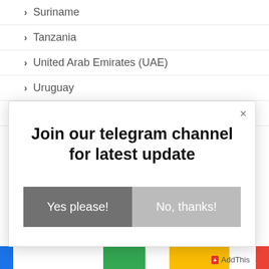Suriname
Tanzania
United Arab Emirates (UAE)
Uruguay
Venezuela
Join our telegram channel for latest update
Yes please!
No, thanks!